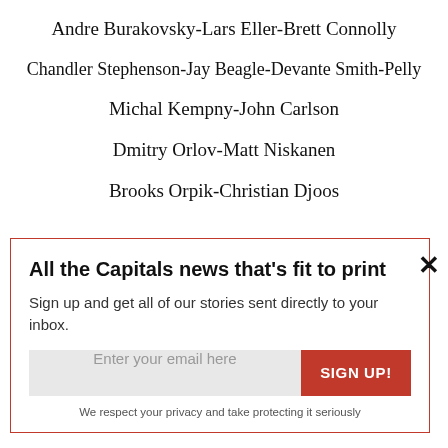Andre Burakovsky-Lars Eller-Brett Connolly
Chandler Stephenson-Jay Beagle-Devante Smith-Pelly
Michal Kempny-John Carlson
Dmitry Orlov-Matt Niskanen
Brooks Orpik-Christian Djoos
[Figure (screenshot): Newsletter signup modal with red border. Title: 'All the Capitals news that's fit to print'. Body text: 'Sign up and get all of our stories sent directly to your inbox.' Email input field with placeholder 'Enter your email here' and a red 'SIGN UP!' button. Footer: 'We respect your privacy and take protecting it seriously'. Close X button top right.]
On Ju
Colo
game